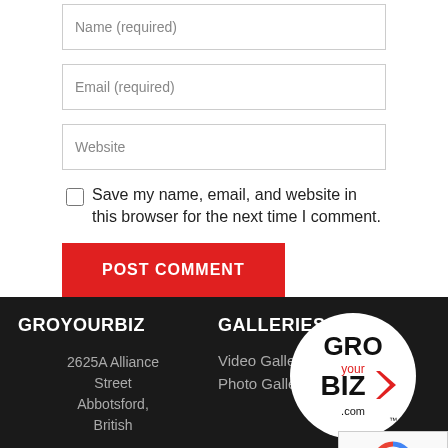Name (required)
Email (required)
Website
Save my name, email, and website in this browser for the next time I comment.
POST COMMENT
GROYOURBIZ
GALLERIES
2625A Alliance Street Abbotsford, British
Video Gallery
Photo Gallery
[Figure (logo): GroYourBiz circular logo with GRO, your, BIZ text and arrow, with .com and TM marks]
[Figure (other): reCAPTCHA widget with privacy and terms links]